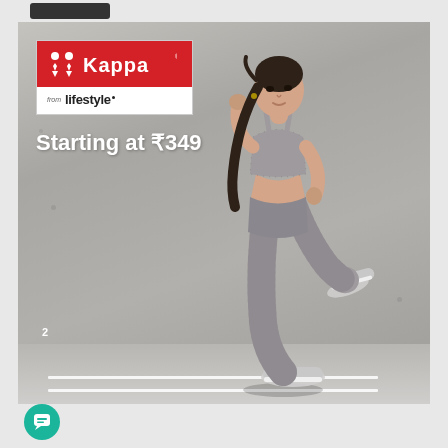[Figure (photo): Kappa sportswear advertisement from Lifestyle. A female model in athletic wear (speckled gray sports bra and leggings with white sneakers) poses in a high-knee stance against a concrete wall background. The Kappa logo appears in a red and white box in the top-left corner with 'from lifestyle' text below it. White text reads 'Starting at ₹349'. Page number 2 is shown at the bottom left. A teal chat bubble icon appears at the bottom.]